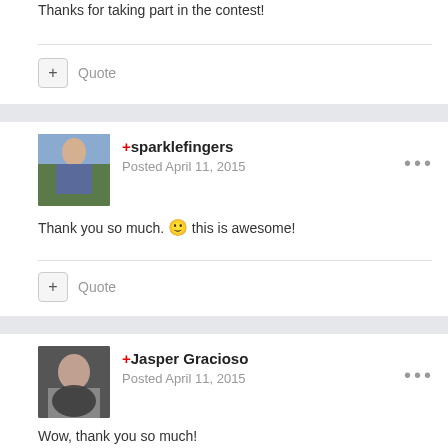Thanks for taking part in the contest!
Quote
+sparklefingers
Posted April 11, 2015
Thank you so much. 🙂 this is awesome!
Quote
+Jasper Gracioso
Posted April 11, 2015
Wow, thank you so much!